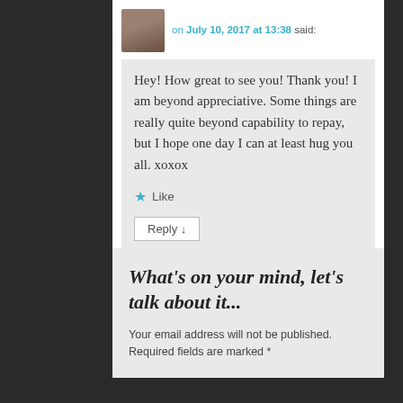on July 10, 2017 at 13:38 said:
Hey! How great to see you! Thank you! I am beyond appreciative. Some things are really quite beyond capability to repay, but I hope one day I can at least hug you all. xoxox
Like
Reply ↓
What's on your mind, let's talk about it...
Your email address will not be published. Required fields are marked *